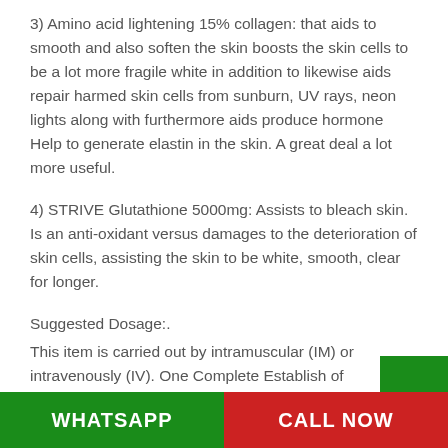3) Amino acid lightening 15% collagen: that aids to smooth and also soften the skin boosts the skin cells to be a lot more fragile white in addition to likewise aids repair harmed skin cells from sunburn, UV rays, neon lights along with furthermore aids produce hormone Help to generate elastin in the skin. A great deal a lot more useful.
4) STRIVE Glutathione 5000mg: Assists to bleach skin. Is an anti-oxidant versus damages to the deterioration of skin cells, assisting the skin to be white, smooth, clear for longer.
Suggested Dosage:.
This item is carried out by intramuscular (IM) or intravenously (IV). One Complete Establish of ampoules/injections each week fo
WHATSAPP   CALL NOW